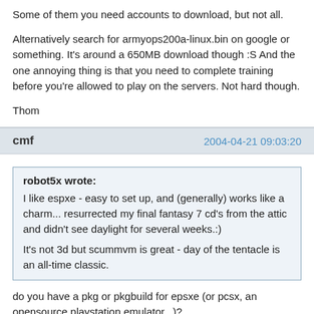Some of them you need accounts to download, but not all.

Alternatively search for armyops200a-linux.bin on google or something. It's around a 650MB download though :S And the one annoying thing is that you need to complete training before you're allowed to play on the servers. Not hard though.

Thom
cmf    2004-04-21 09:03:20
robot5x wrote:
I like espxe - easy to set up, and (generally) works like a charm... resurrected my final fantasy 7 cd's from the attic and didn't see daylight for several weeks.:)

It's not 3d but scummvm is great - day of the tentacle is an all-time classic.
do you have a pkg or pkgbuild for epsxe (or pcsx, an opensource playstation emulator...)?
Greycloack    2004-04-25 13:52:47